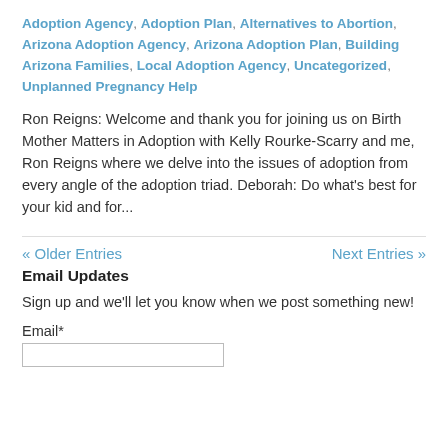Adoption Agency, Adoption Plan, Alternatives to Abortion, Arizona Adoption Agency, Arizona Adoption Plan, Building Arizona Families, Local Adoption Agency, Uncategorized, Unplanned Pregnancy Help
Ron Reigns: Welcome and thank you for joining us on Birth Mother Matters in Adoption with Kelly Rourke-Scarry and me, Ron Reigns where we delve into the issues of adoption from every angle of the adoption triad. Deborah: Do what’s best for your kid and for...
« Older Entries    Next Entries »
Email Updates
Sign up and we’ll let you know when we post something new!
Email*